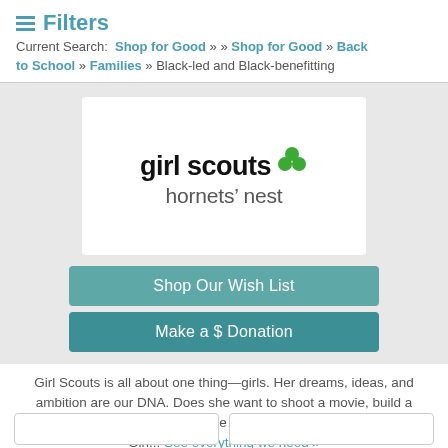≡ Filters
Current Search: Shop for Good » » Shop for Good » Back to School » Families » Black-led and Black-benefitting
[Figure (logo): Girl Scouts Hornets' Nest logo — bold black text 'girl scouts' with a green trefoil icon above the apostrophe, and lighter text 'hornets' nest' below, on white background]
Shop Our Wish List
Make a $ Donation
Girl Scouts is all about one thing—girls. Her dreams, ideas, and ambition are our DNA. Does she want to shoot a movie, build a robot, plant a garden, or change a law? She can explore it all at Girl... See everything we need »